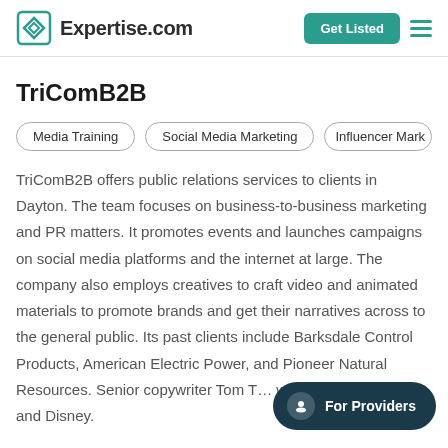Expertise.com | Get Listed | Menu
TriComB2B
Media Training
Social Media Marketing
Influencer Mark…
TriComB2B offers public relations services to clients in Dayton. The team focuses on business-to-business marketing and PR matters. It promotes events and launches campaigns on social media platforms and the internet at large. The company also employs creatives to craft video and animated materials to promote brands and get their narratives across to the general public. Its past clients include Barksdale Control Products, American Electric Power, and Pioneer Natural Resources. Senior copywriter Tom T… worked with Lucasfilm and Disney.